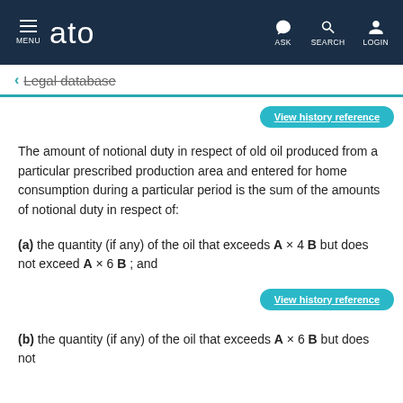ato — MENU | ASK | SEARCH | LOGIN
← Legal database
View history reference
The amount of notional duty in respect of old oil produced from a particular prescribed production area and entered for home consumption during a particular period is the sum of the amounts of notional duty in respect of:
(a) the quantity (if any) of the oil that exceeds A × 4 B but does not exceed A × 6 B ; and
View history reference
(b) the quantity (if any) of the oil that exceeds A × 6 B but does not